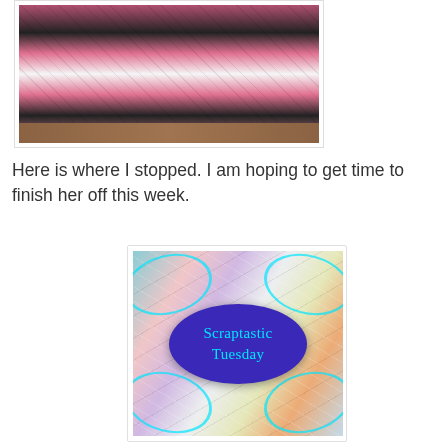[Figure (photo): Photo of a quilt with pink, black, and white patterned fabric panels laid out on a wooden floor]
Here is where I stopped. I am hoping to get time to finish her off this week.
[Figure (photo): Scraptastic Tuesday logo image — colorful fabric scraps background with teal decorative flourishes and a blue oval badge with cyan text reading 'Scraptastic Tuesday']